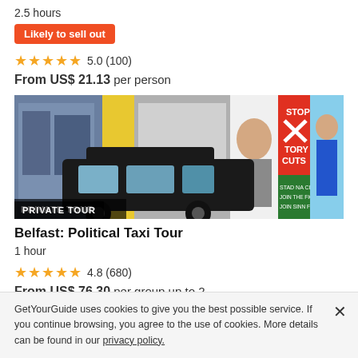2.5 hours
Likely to sell out
★★★★★ 5.0 (100)
From US$ 21.13 per person
[Figure (photo): A black taxi cab parked in front of colorful political murals including 'STOP TORY CUTS' and Sinn Féin posters. Label reads PRIVATE TOUR.]
Belfast: Political Taxi Tour
1 hour
★★★★★ 4.8 (680)
From US$ 76.30 per group up to 2
GetYourGuide uses cookies to give you the best possible service. If you continue browsing, you agree to the use of cookies. More details can be found in our privacy policy.